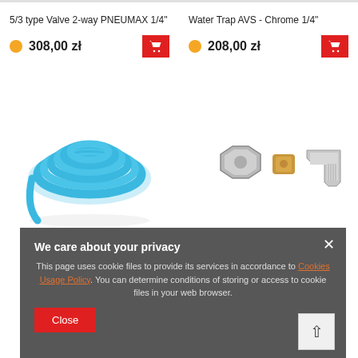5/3 type Valve 2-way PNEUMAX 1/4"
308,00 zł
Water Trap AVS - Chrome 1/4"
208,00 zł
[Figure (photo): Blue coiled pneumatic tubing/hose]
[Figure (photo): Metal pipe fittings - silver hex nut, brass fitting, and elbow connector]
We care about your privacy
This page uses cookie files to provide its services in accordance to Cookies Usage Policy. You can determine conditions of storing or access to cookie files in your web browser.
Close